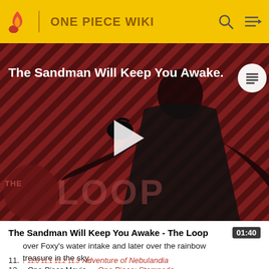ONE PIECE WIKI
[Figure (screenshot): Video thumbnail for 'The Sandman Will Keep You Awake - The Loop' with a dark-robed figure, diagonal stripe background, THE LOOP watermark, and a play button overlay.]
The Sandman Will Keep You Awake - The Loop  01:40
over Foxy's water intake and later over the rainbow treasure in the sky.
11. ↑ 11.0 11.1 11.2 11.3 Adventure of Nebulandia
12. ↑ One Piece Movie — One Piece: Stampede.